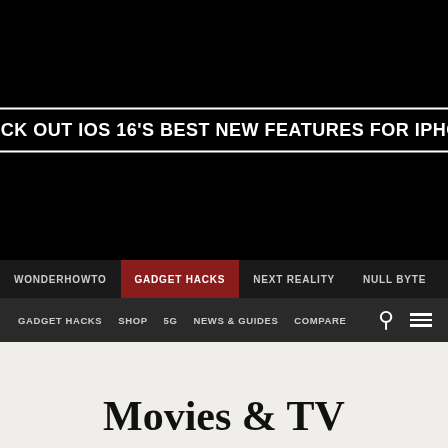CHECK OUT IOS 16'S BEST NEW FEATURES FOR IPHONE
WONDERHOWTO | GADGET HACKS | NEXT REALITY | NULL BYTE
GADGET HACKS SHOP 5G NEWS & GUIDES COMPARE
Movies & TV